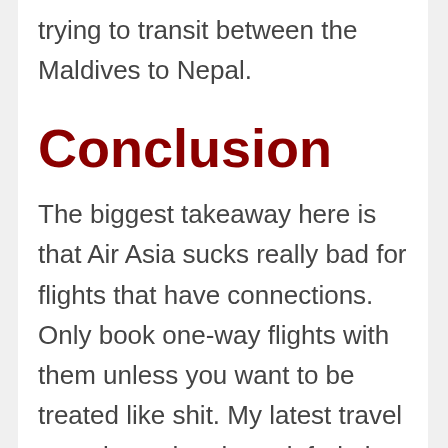trying to transit between the Maldives to Nepal.
Conclusion
The biggest takeaway here is that Air Asia sucks really bad for flights that have connections. Only book one-way flights with them unless you want to be treated like shit. My latest travel experience has been infuriating. Ending...